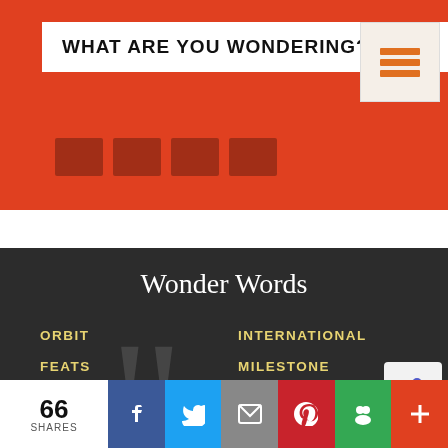WHAT ARE YOU WONDERING?
Wonder Words
ORBIT
FEATS
PIONEER
FRONTIER
UNEXPLORED
COMPETITION
INTERNATIONAL
MILESTONE
COSMONAUT
ACCOMPLISHMENT
ATMOSPHERE
VOLUNTEER
66 SHARES